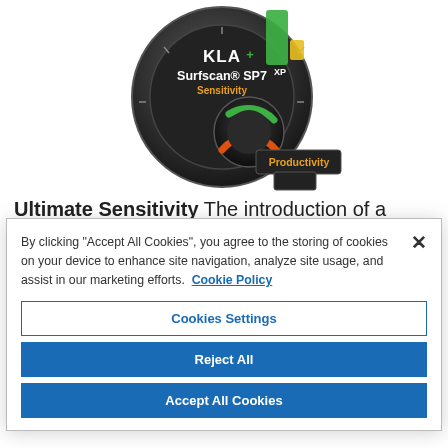[Figure (illustration): KLA Surfscan SP7XP product instrument dial graphic showing Sensitivity and Productivity gauges with KLA+ logo in dark circular housing]
Ultimate Sensitivity The introduction of a 12.5nm inspection mode coupled with new low noise sensors
By clicking "Accept All Cookies", you agree to the storing of cookies on your device to enhance site navigation, analyze site usage, and assist in our marketing efforts.  Cookie Policy
Cookies Settings
Reject All
Accept All Cookies